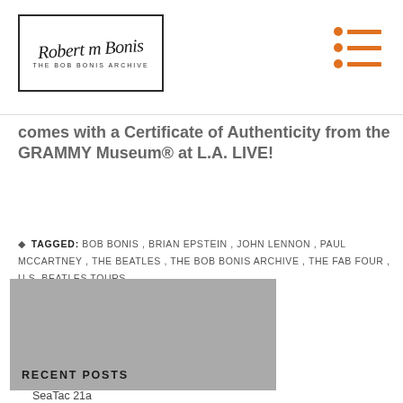Robert M Bonis – THE BOB BONIS ARCHIVE
comes with a Certificate of Authenticity from the GRAMMY Museum® at L.A. LIVE!
TAGGED: BOB BONIS, BRIAN EPSTEIN, JOHN LENNON, PAUL MCCARTNEY, THE BEATLES, THE BOB BONIS ARCHIVE, THE FAB FOUR, U.S. BEATLES TOURS
[Figure (photo): Gray placeholder image for a sidebar post thumbnail]
RECENT POSTS
SeaTac 21a